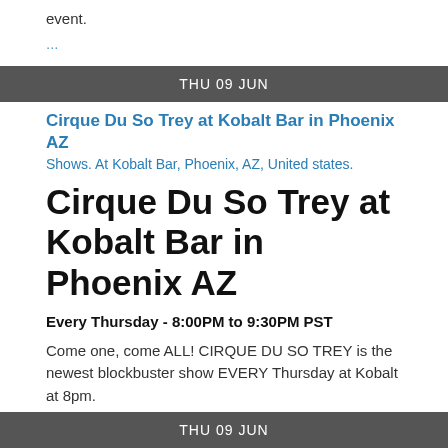event.
...
THU 09 JUN
Cirque Du So Trey at Kobalt Bar in Phoenix AZ
Shows. At Kobalt Bar, Phoenix, AZ, United states.
Cirque Du So Trey at Kobalt Bar in Phoenix AZ
Every Thursday - 8:00PM to 9:30PM PST
Come one, come ALL! CIRQUE DU SO TREY is the newest blockbuster show EVERY Thursday at Kobalt at 8pm.
Join us for an evening of incredible entertainment blending…
THU 09 JUN